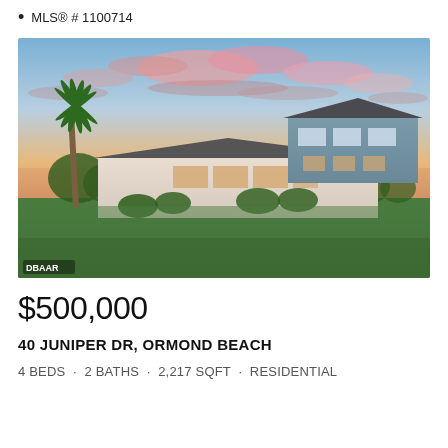MLS® # 1100714
[Figure (photo): Exterior photo of a two-story residential home at sunset/dusk. The house is white and gray-blue with large windows, set on a wide green lawn. A tall palm tree is visible on the left side. The sky shows dramatic pink and blue clouds. A watermark 'DBAAR' appears in the lower left corner.]
$500,000
40 JUNIPER DR, ORMOND BEACH
4 BEDS  •  2 BATHS  •  2,217 SQFT  •  RESIDENTIAL